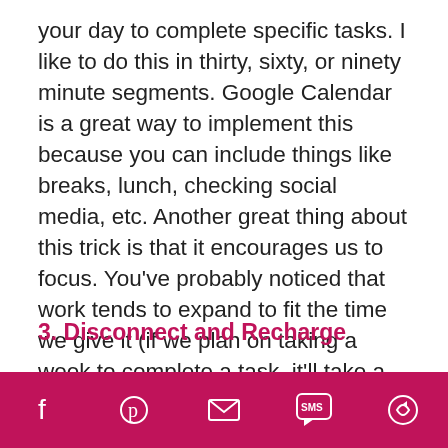your day to complete specific tasks. I like to do this in thirty, sixty, or ninety minute segments. Google Calendar is a great way to implement this because you can include things like breaks, lunch, checking social media, etc. Another great thing about this trick is that it encourages us to focus. You've probably noticed that work tends to expand to fit the time we give it (if we plan on taking a week to complete a task, it'll take a week. If you plan on two hours, it'll take two hours.) This means that you get more done in less time!
3. Disconnect and Recharge
It's very common for entrepreneurs to feel
[social share icons: Facebook, Pinterest, Email, SMS, Share]